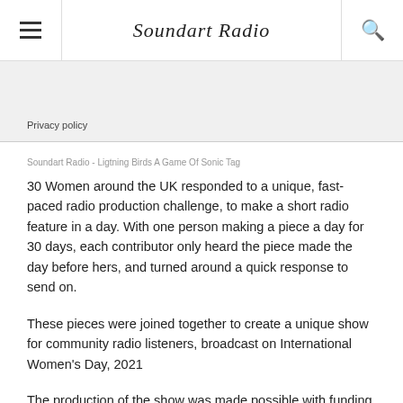Soundart Radio
Privacy policy
Soundart Radio - Ligtning Birds A Game Of Sonic Tag
30 Women around the UK responded to a unique, fast-paced radio production challenge, to make a short radio feature in a day. With one person making a piece a day for 30 days, each contributor only heard the piece made the day before hers, and turned around a quick response to send on.
These pieces were joined together to create a unique show for community radio listeners, broadcast on International Women's Day, 2021
The production of the show was made possible with funding from the Audio Content Fund, a UK government initiative to support public service broadcasting. Additional funding was